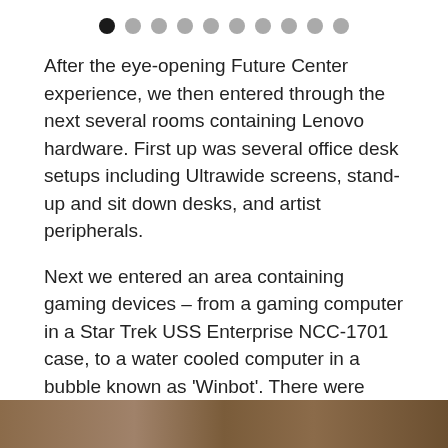• • • • • • • • • •
After the eye-opening Future Center experience, we then entered through the next several rooms containing Lenovo hardware. First up was several office desk setups including Ultrawide screens, stand-up and sit down desks, and artist peripherals.
Next we entered an area containing gaming devices – from a gaming computer in a Star Trek USS Enterprise NCC-1701 case, to a water cooled computer in a bubble known as 'Winbot'. There were several Legion branded laptops and desktops too.
The Virtual Reality units Lenovo is involved in were also on display; Star Wars and Marvel AR headsets, the Lenovo Mirage, and the Oculus Rift.
[Figure (photo): Bottom strip showing a partial photo, warm brown tones, appears to be a room or display area.]